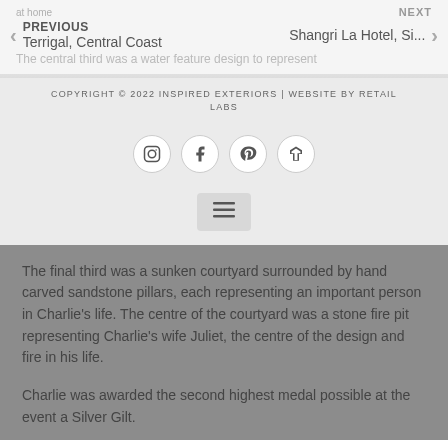at home
PREVIOUS
Terrigal, Central Coast
NEXT
Shangri La Hotel, Si...
The central third was a water feature design to represent
COPYRIGHT © 2022 INSPIRED EXTERIORS | WEBSITE BY RETAIL LABS
[Figure (other): Social media icons: Instagram, Facebook, Pinterest, Houzz]
[Figure (other): Hamburger menu button]
The final third was a sunken courtyard surrounded by hand carved sandstone pillars, each representing an important person in Charlie's life. The centre of the courtyard was a stone fire pit representing Charlie's wife Juliet, the centre of the design and fire in his life.
Charlie was awarded the second highest medal possible at the event a Silver Gilt.